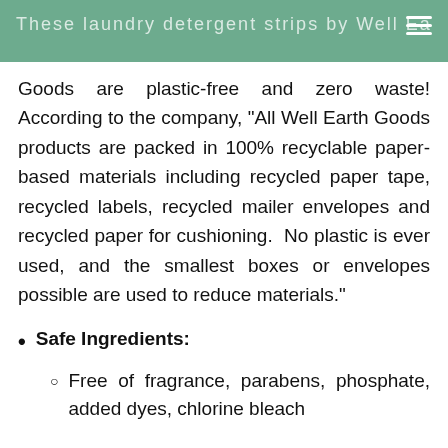These laundry detergent strips by Well Ea...
Goods are plastic-free and zero waste! According to the company, “All Well Earth Goods products are packed in 100% recyclable paper-based materials including recycled paper tape, recycled labels, recycled mailer envelopes and recycled paper for cushioning. No plastic is ever used, and the smallest boxes or envelopes possible are used to reduce materials.”
Safe Ingredients:
Free of fragrance, parabens, phosphate, added dyes, chlorine bleach